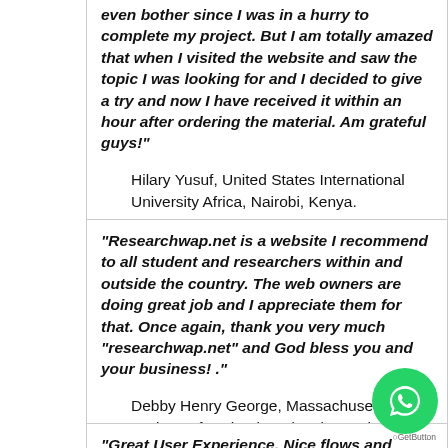even bother since I was in a hurry to complete my project. But I am totally amazed that when I visited the website and saw the topic I was looking for and I decided to give a try and now I have received it within an hour after ordering the material. Am grateful guys!"
Hilary Yusuf, United States International University Africa, Nairobi, Kenya.
"Researchwap.net is a website I recommend to all student and researchers within and outside the country. The web owners are doing great job and I appreciate them for that. Once again, thank you very much "researchwap.net" and God bless you and your business! ."
Debby Henry George, Massachusetts Institute of Technology (MIT), Cambridge, USA.
"Great User Experience, Nice flows and Superb functionalities.The app is indeed a great tech innovation for greasing the wheels of final year